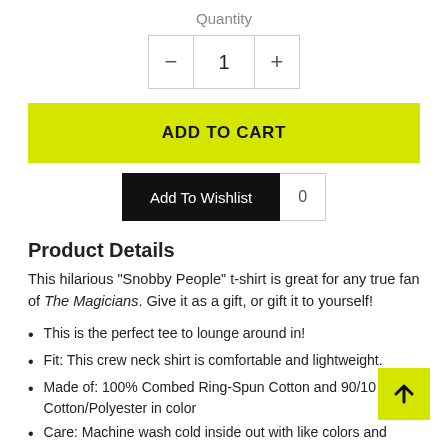Quantity
[Figure (infographic): Quantity selector control with minus button, number 1 in center, plus button]
ADD TO CART
Add To Wishlist  0
Product Details
This hilarious "Snobby People" t-shirt is great for any true fan of The Magicians. Give it as a gift, or gift it to yourself!
This is the perfect tee to lounge around in!
Fit: This crew neck shirt is comfortable and lightweight.
Made of: 100% Combed Ring-Spun Cotton and 90/10 Cotton/Polyester in color
Care: Machine wash cold inside out with like colors and tumble